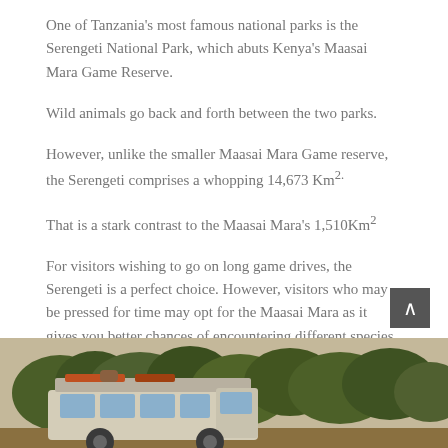One of Tanzania's most famous national parks is the Serengeti National Park, which abuts Kenya's Maasai Mara Game Reserve.
Wild animals go back and forth between the two parks.
However, unlike the smaller Maasai Mara Game reserve, the Serengeti comprises a whopping 14,673 Km².
That is a stark contrast to the Maasai Mara's 1,510Km²
For visitors wishing to go on long game drives, the Serengeti is a perfect choice. However, visitors who may be pressed for time may opt for the Maasai Mara as it gives you better chances of encountering different species within a smaller area.
[Figure (photo): A safari vehicle (white minivan/bus) parked among green trees and shrubs, viewed from the side.]